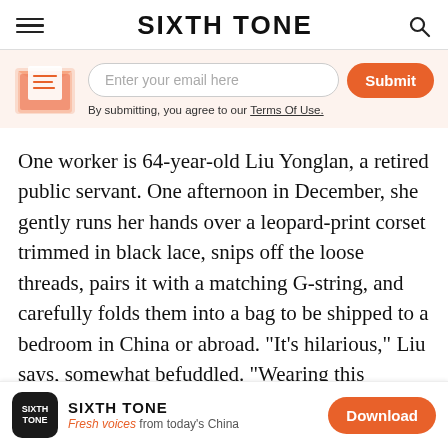SIXTH TONE
[Figure (infographic): Email newsletter signup bar with envelope icon, email input field, Submit button, and terms of use text]
One worker is 64-year-old Liu Yonglan, a retired public servant. One afternoon in December, she gently runs her hands over a leopard-print corset trimmed in black lace, snips off the loose threads, pairs it with a matching G-string, and carefully folds them into a bag to be shipped to a bedroom in China or abroad. “It’s hilarious,” Liu says, somewhat befuddled. “Wearing this lingerie, you might as well be wearing nothing, because every part of the body can be seen so clearly.” Even though hundreds of similar garments pass
SIXTH TONE — Fresh voices from today's China — Download